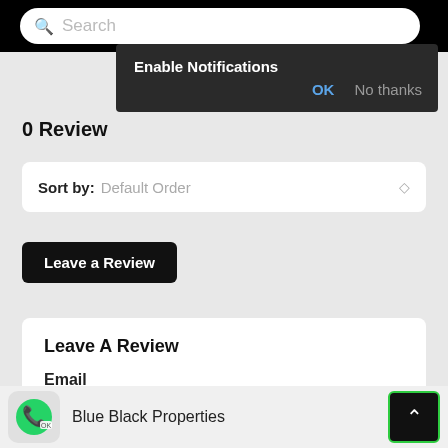Search
Enable Notifications  OK  No thanks
0 Review
Sort by: Default Order
Leave a Review
Leave A Review
Email
Blue Black Properties